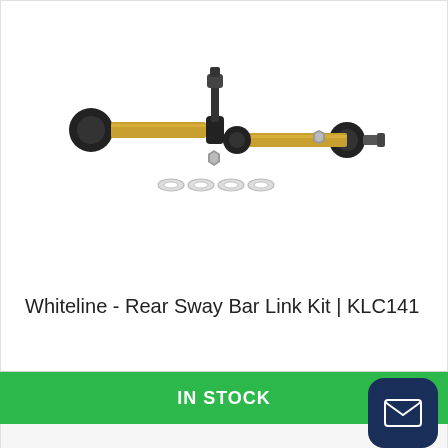[Figure (photo): Product photo of Whiteline Rear Sway Bar Link Kit KLC141 — two adjustable sway bar end links with gold-colored shafts, black ball joints, and silver washers/hardware included]
Whiteline - Rear Sway Bar Link Kit | KLC141
IN STOCK
$208.67